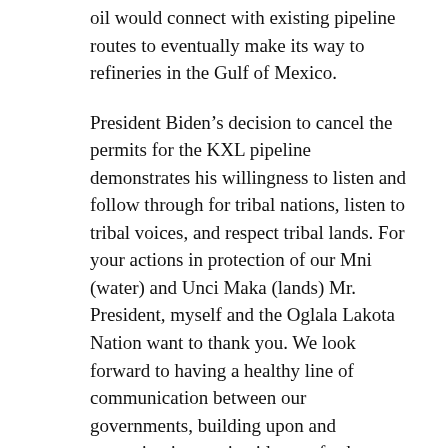oil would connect with existing pipeline routes to eventually make its way to refineries in the Gulf of Mexico.
President Biden’s decision to cancel the permits for the KXL pipeline demonstrates his willingness to listen and follow through for tribal nations, listen to tribal voices, and respect tribal lands. For your actions in protection of our Mni (water) and Unci Maka (lands) Mr. President, myself and the Oglala Lakota Nation want to thank you. We look forward to having a healthy line of communication between our governments, building upon and recreating innovative ideas to further our bonds, and together thinking forward to create enduring friendships.”